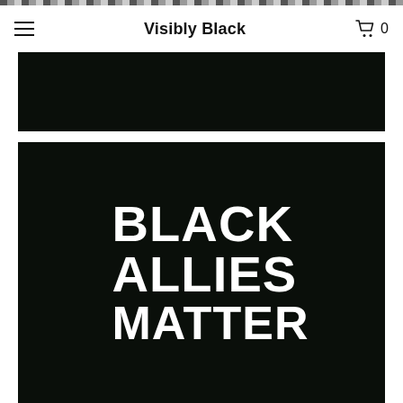Visibly Black
[Figure (photo): Dark/black rectangular image banner at top of product page]
[Figure (photo): Black t-shirt or graphic with white bold text reading: BLACK ALLIES MATTER]